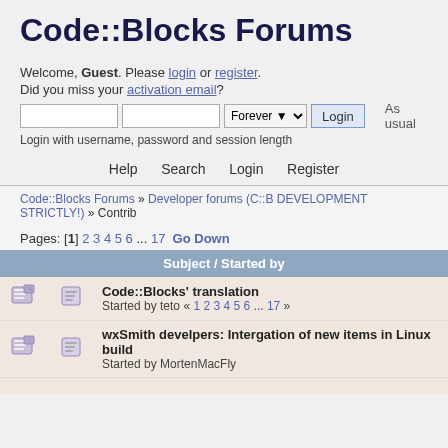Code::Blocks Forums
Welcome, Guest. Please login or register. Did you miss your activation email?
Login with username, password and session length
As usual
Help   Search   Login   Register
Code::Blocks Forums » Developer forums (C::B DEVELOPMENT STRICTLY!) » Contrib
Pages: [1] 2 3 4 5 6 ... 17  Go Down
| Subject / Started by |
| --- |
| Code::Blocks' translation
Started by teto « 1 2 3 4 5 6 ... 17 » |
| wxSmith develpers: Intergation of new items in Linux build
Started by MortenMacFly |